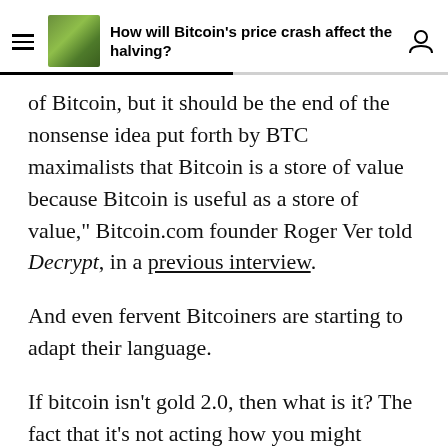How will Bitcoin's price crash affect the halving?
of Bitcoin, but it should be the end of the nonsense idea put forth by BTC maximalists that Bitcoin is a store of value because Bitcoin is useful as a store of value," Bitcoin.com founder Roger Ver told Decrypt, in a previous interview.
And even fervent Bitcoiners are starting to adapt their language.
If bitcoin isn't gold 2.0, then what is it? The fact that it's not acting how you might expect only underscores just how early it is.